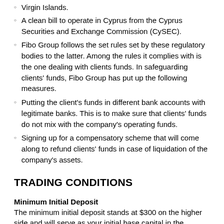Virgin Islands.
A clean bill to operate in Cyprus from the Cyprus Securities and Exchange Commission (CySEC).
Fibo Group follows the set rules set by these regulatory bodies to the latter. Among the rules it complies with is the one dealing with clients funds. In safeguarding clients' funds, Fibo Group has put up the following measures.
Putting the client's funds in different bank accounts with legitimate banks. This is to make sure that clients' funds do not mix with the company's operating funds.
Signing up for a compensatory scheme that will come along to refund clients' funds in case of liquidation of the company's assets.
TRADING CONDITIONS
Minimum Initial Deposit
The minimum initial deposit stands at $300 on the higher side and will serve as your initial base capital in the execution of trades.